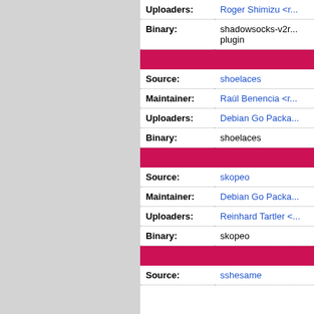| Uploaders: | Roger Shimizu <r... |
| Binary: | shadowsocks-v2r... plugin |
| Source: | shoelaces |
| Maintainer: | Raúl Benencia <r... |
| Uploaders: | Debian Go Packa... |
| Binary: | shoelaces |
| Source: | skopeo |
| Maintainer: | Debian Go Packa... |
| Uploaders: | Reinhard Tartler <... |
| Binary: | skopeo |
| Source: | sshesame |